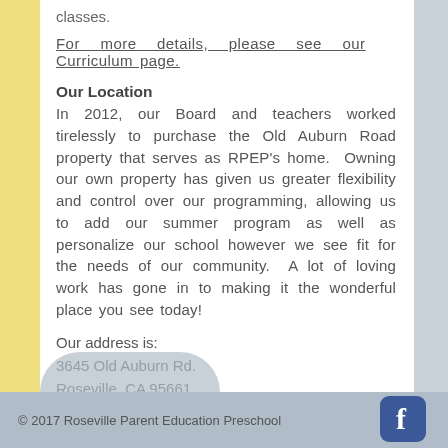For more details, please see our Curriculum page.
Our Location
In 2012, our Board and teachers worked tirelessly to purchase the Old Auburn Road property that serves as RPEP's home.  Owning our own property has given us greater flexibility and control over our programming, allowing us to add our summer program as well as personalize our school however we see fit for the needs of our community.  A lot of loving work has gone in to making it the wonderful place you see today!
Our address is:
3645 Old Auburn Rd.
Roseville, CA 95661
© 2017 Roseville Parent Education Preschool